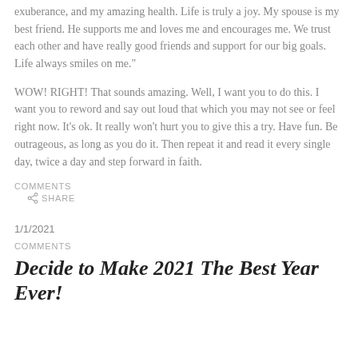exuberance, and my amazing health. Life is truly a joy. My spouse is my best friend. He supports me and loves me and encourages me. We trust each other and have really good friends and support for our big goals. Life always smiles on me."
WOW! RIGHT! That sounds amazing. Well, I want you to do this. I want you to reword and say out loud that which you may not see or feel right now. It's ok. It really won't hurt you to give this a try. Have fun. Be outrageous, as long as you do it. Then repeat it and read it every single day, twice a day and step forward in faith.
COMMENTS
SHARE
1/1/2021
COMMENTS
Decide to Make 2021 The Best Year Ever!